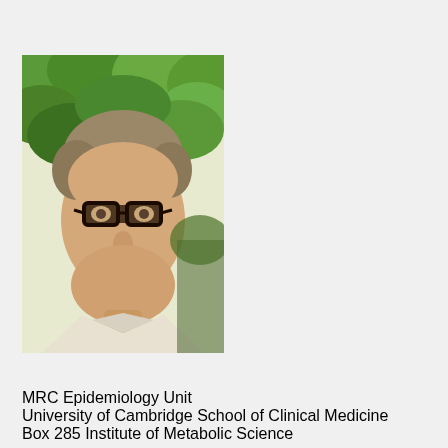[Figure (photo): Headshot photo of a middle-aged man with short grey-brown hair, wearing dark-rimmed glasses and a light-coloured collared shirt, smiling outdoors with green trees in the background.]
MRC Epidemiology Unit
University of Cambridge School of Clinical Medicine
Box 285 Institute of Metabolic Science